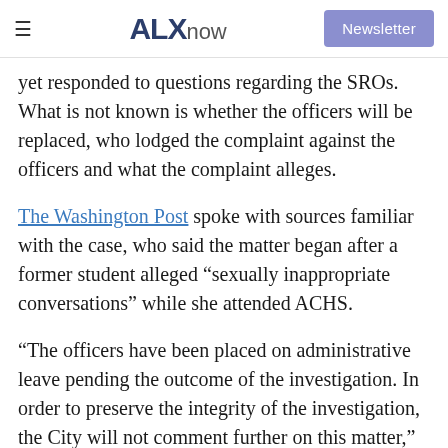ALXnow | Newsletter
yet responded to questions regarding the SROs. What is not known is whether the officers will be replaced, who lodged the complaint against the officers and what the complaint alleges.
The Washington Post spoke with sources familiar with the case, who said the matter began after a former student alleged “sexually inappropriate conversations” while she attended ACHS.
“The officers have been placed on administrative leave pending the outcome of the investigation. In order to preserve the integrity of the investigation, the City will not comment further on this matter,” the police said.
ACPS said it was cooperating with the police department, and would not comment further